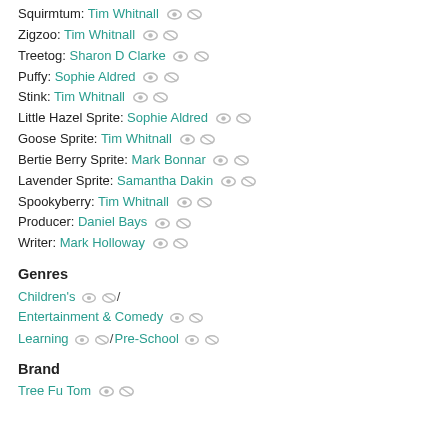Squirmtum: Tim Whitnall
Zigzoo: Tim Whitnall
Treetog: Sharon D Clarke
Puffy: Sophie Aldred
Stink: Tim Whitnall
Little Hazel Sprite: Sophie Aldred
Goose Sprite: Tim Whitnall
Bertie Berry Sprite: Mark Bonnar
Lavender Sprite: Samantha Dakin
Spookyberry: Tim Whitnall
Producer: Daniel Bays
Writer: Mark Holloway
Genres
Children's / Entertainment & Comedy / Learning / Pre-School
Brand
Tree Fu Tom